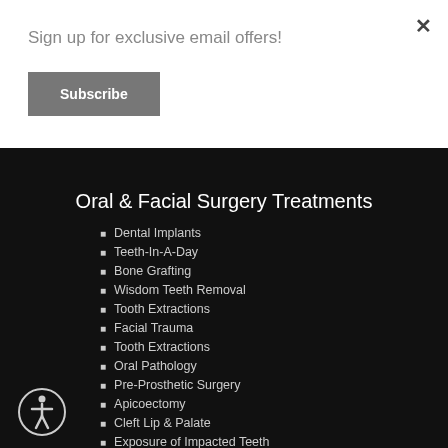Sign up for exclusive email offers!
Subscribe
Oral & Facial Surgery Treatments
Dental Implants
Teeth-In-A-Day
Bone Grafting
Wisdom Teeth Removal
Tooth Extractions
Facial Trauma
Tooth Extractions
Oral Pathology
Pre-Prosthetic Surgery
Apicoectomy
Cleft Lip & Palate
Exposure of Impacted Teeth